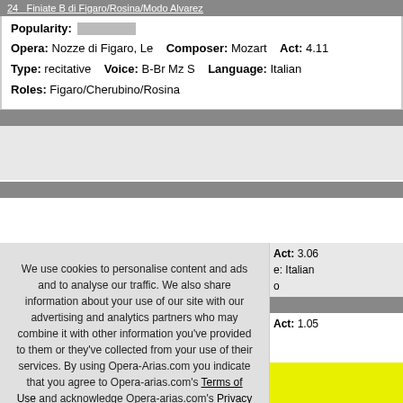24 Finiate B di Figaro/Rosina/Modo Alvarez
Popularity: [bar]
Opera: Nozze di Figaro, Le   Composer: Mozart   Act: 4.11
Type: recitative   Voice: B-Br Mz S   Language: Italian
Roles: Figaro/Cherubino/Rosina
Act: 3.06
e: Italian
o
Act: 1.05
leos and singers!
Not interested
We use cookies to personalise content and ads and to analyse our traffic. We also share information about your use of our site with our advertising and analytics partners who may combine it with other information you've provided to them or they've collected from your use of their services. By using Opera-Arias.com you indicate that you agree to Opera-arias.com's Terms of Use and acknowledge Opera-arias.com's Privacy Policy. Learn more
Got it!